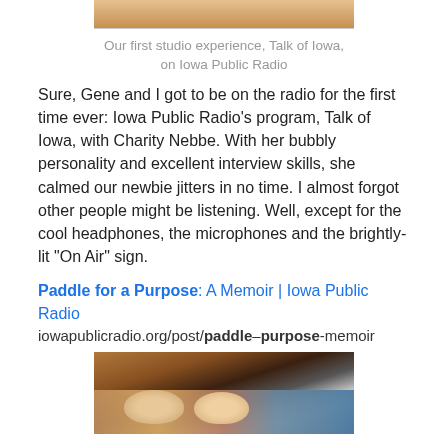[Figure (photo): Top portion of a photo showing a studio experience at Talk of Iowa on Iowa Public Radio]
Our first studio experience, Talk of Iowa, on Iowa Public Radio
Sure, Gene and I got to be on the radio for the first time ever: Iowa Public Radio’s program, Talk of Iowa, with Charity Nebbe. With her bubbly personality and excellent interview skills, she calmed our newbie jitters in no time. I almost forgot other people might be listening. Well, except for the cool headphones, the microphones and the brightly-lit “On Air” sign.
Paddle for a Purpose: A Memoir | Iowa Public Radio
iowapublicradio.org/post/paddle–purpose-memoir
[Figure (photo): Bottom photo showing two people in front of bookshelves in a library or bookstore setting]